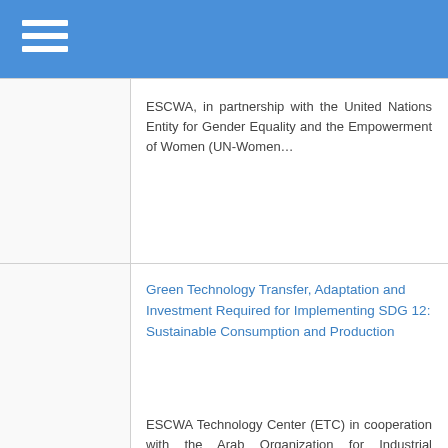ESCWA, in partnership with the United Nations Entity for Gender Equality and the Empowerment of Women (UN-Women...
Green Technology Transfer, Adaptation and Investment Required for Implementing SDG 12: Sustainable Consumption and Production
ESCWA Technology Center (ETC) in cooperation with the Arab Organization for Industrial Development and Mining (AIDMO), and Climate Technology Centre...